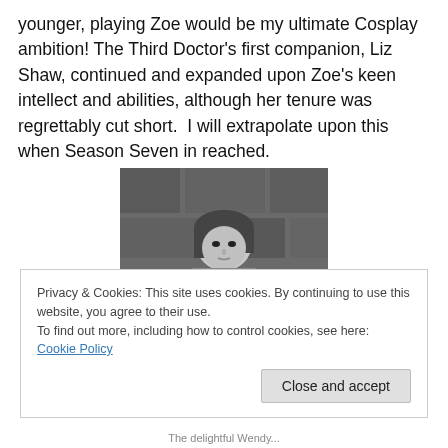younger, playing Zoe would be my ultimate Cosplay ambition! The Third Doctor's first companion, Liz Shaw, continued and expanded upon Zoe's keen intellect and abilities, although her tenure was regrettably cut short.  I will extrapolate upon this when Season Seven in reached.
[Figure (photo): Black and white photograph of a young woman with short hair, looking upward, against a stone wall background.]
Privacy & Cookies: This site uses cookies. By continuing to use this website, you agree to their use.
To find out more, including how to control cookies, see here: Cookie Policy
Close and accept
The delightful Wendy...